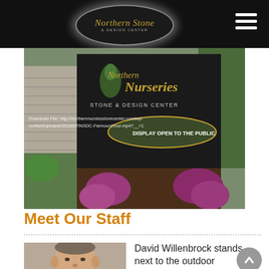Northern Stone & Design Center
[Figure (photo): Outdoor stone entrance sign reading 'Northern Nurseries Stone & Design Center, Display Open to the Public', flanked by stacked stone pillars with purple chrysanthemums in foreground. Watermark text: 'Download File: http://northernnursiesstorecenter.com/wp-content/uploads/2016/07/NSDC-FaimountTour.mp4?__=1']
Meet Our Staff
[Figure (photo): Headshot photo of a man (David Willenbrock), partial view showing face and shoulders]
David Willenbrock stands next to the outdoor